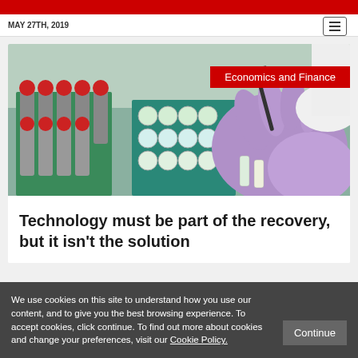MAY 27TH, 2019
[Figure (photo): A person wearing purple latex gloves sorting and handling medical sample vials and test tubes in green sample racks in a laboratory setting.]
Economics and Finance
Technology must be part of the recovery, but it isn't the solution
We use cookies on this site to understand how you use our content, and to give you the best browsing experience. To accept cookies, click continue. To find out more about cookies and change your preferences, visit our Cookie Policy.